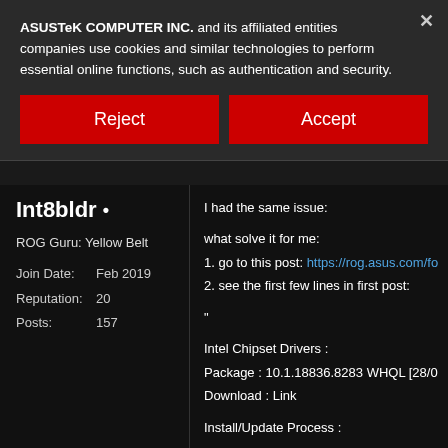ASUSTeK COMPUTER INC. and its affiliated entities companies use cookies and similar technologies to perform essential online functions, such as authentication and security.
Reject
Accept
Int8bldr •
ROG Guru: Yellow Belt
|  |  |
| --- | --- |
| Join Date: | Feb 2019 |
| Reputation: | 20 |
| Posts: | 157 |
I had the same issue:

what solve it for me:
1. go to this post: https://rog.asus.com/fo
2. see the first few lines in first post:

"

Intel Chipset Drivers :
Package : 10.1.18836.8283 WHQL [28/0
Download : Link

Install/Update Process :

Launch "CHIPSET_Intel_vxx.x.xxxxx.xxx

[X299 Only] Install this add-on driver : Lin
Run as administrator > Automatic restart
"